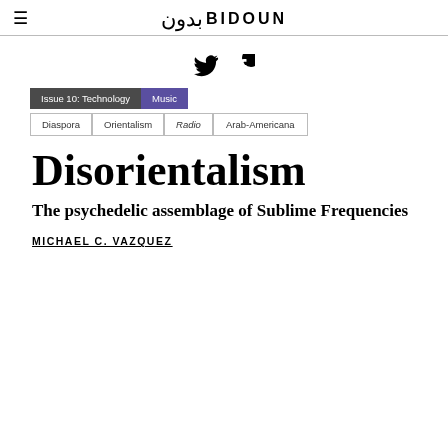BIDOUN (بدون)
[Figure (infographic): Social share icons: Twitter bird and Facebook f logo]
Issue 10: Technology
Music
Diaspora
Orientalism
Radio
Arab-Americana
Disorientalism
The psychedelic assemblage of Sublime Frequencies
MICHAEL C. VAZQUEZ